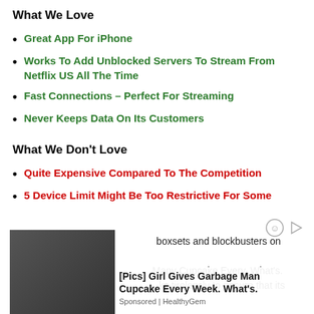What We Love
Great App For iPhone
Works To Add Unblocked Servers To Stream From Netflix US All The Time
Fast Connections – Perfect For Streaming
Never Keeps Data On Its Customers
What We Don't Love
Quite Expensive Compared To The Competition
5 Device Limit Might Be Too Restrictive For Some
If you're looking for boxsets and blockbusters on your iPhone... What's because ... ks tirelessly to ensure that its
[Figure (photo): Ad overlay with photo of man and child, advertisement for [Pics] Girl Gives Garbage Man Cupcake Every Week. What's. Sponsored | HealthyGem]